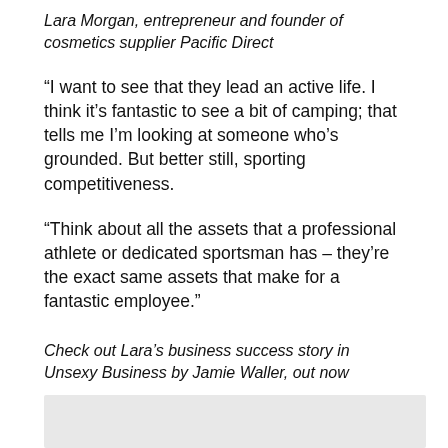Lara Morgan, entrepreneur and founder of cosmetics supplier Pacific Direct
“I want to see that they lead an active life. I think it’s fantastic to see a bit of camping; that tells me I’m looking at someone who’s grounded. But better still, sporting competitiveness.
“Think about all the assets that a professional athlete or dedicated sportsman has – they’re the exact same assets that make for a fantastic employee.”
Check out Lara’s business success story in Unsexy Business by Jamie Waller, out now
[Figure (other): Grey rectangular placeholder box at the bottom of the page]